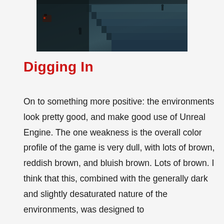[Figure (photo): Dark atmospheric staircase scene from a video game, rendered in Unreal Engine, showing stairs from above with dark teal/brown color palette and small figures visible]
Digging In
On to something more positive: the environments look pretty good, and make good use of Unreal Engine. The one weakness is the overall color profile of the game is very dull, with lots of brown, reddish brown, and bluish brown. Lots of brown. I think that this, combined with the generally dark and slightly desaturated nature of the environments, was designed to